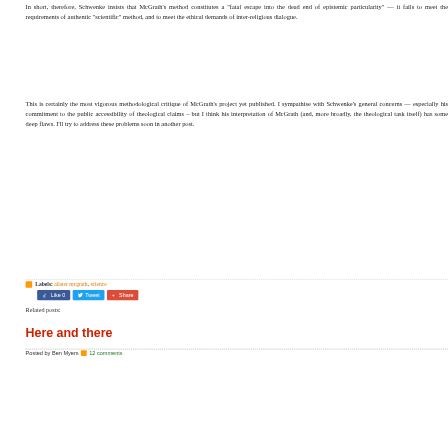In short, therefore, Schwenke insists that McGrath's method constitutes a “fatal escape into the dead end of epistemic particularity” — it fails to meet the requirements of authentic “scientific” method, and to meet the ethical demands of inter-religious dialogue.
This is certainly the most vigorous methodological critique of McGrath’s project yet published. I sympathise with Schwenke’s general concerns — especially his commitment to the public accessibility of theological claims – but I think his interpretation of McGrath (and, more broadly, the theological task itself) has some deep flaws. I’ll try to address these problems soon in another post.
Labels: alister mcgrath, science
[Figure (screenshot): Social media buttons: Like 0 (Facebook), Tweet (Twitter), Share (Google+)]
Related posts:
Here and there
Posted by Ben Myers  12 comments